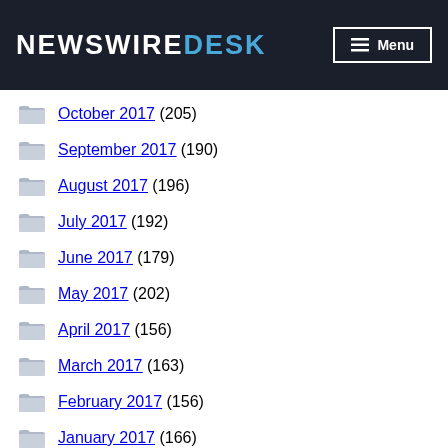NewswireDesk — Menu
October 2017 (205)
September 2017 (190)
August 2017 (196)
July 2017 (192)
June 2017 (179)
May 2017 (202)
April 2017 (156)
March 2017 (163)
February 2017 (156)
January 2017 (166)